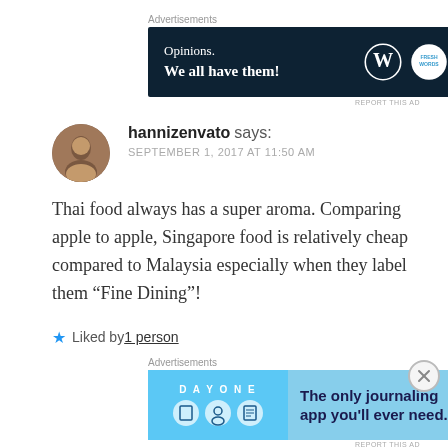Advertisements
[Figure (screenshot): WordPress.com advertisement banner: dark navy background with text 'Opinions. We all have them!' and WordPress logo plus a circular badge logo on right.]
hannizenvato says: SEPTEMBER 1, 2017 AT 11:50 AM
Thai food always has a super aroma. Comparing apple to apple, Singapore food is relatively cheap compared to Malaysia especially when they label them “Fine Dining”!
★ Liked by 1 person
Advertisements
[Figure (screenshot): Day One journaling app advertisement: light blue background with 'DAY ONE' header, three small icons, and text 'The only journaling app you'll ever need.']